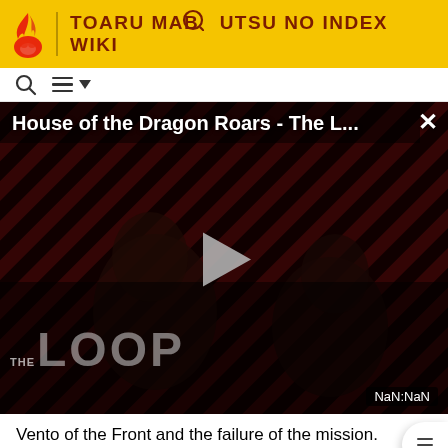TOARU MABUTSU NO INDEX WIKI
[Figure (screenshot): Video thumbnail for 'House of the Dragon Roars - The L...' showing dark figures against a diagonal striped red/dark background. A play button triangle is centered. 'THE LOOP' watermark appears at bottom left. 'NaN:NaN' timer badge at bottom right. A close (X) button at top right.]
Vento of the Front and the failure of the mission.
Terra of the Left later tells Acqua of the Back to leave Academy City as is and not to take on Kamijou Touma even if Acqua of the Back is prepared to take on Academy City on his own. As he states that they should plan for